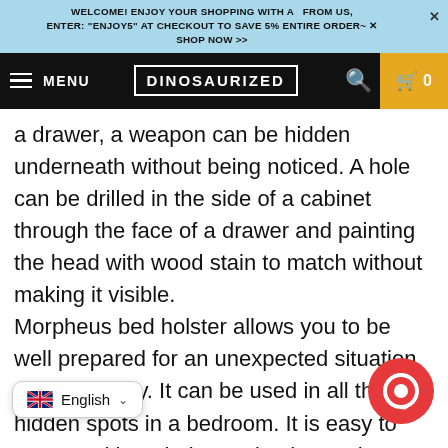WELCOME! ENJOY YOUR SHOPPING WITH A  FROM US, ENTER: "ENJOY5" AT CHECKOUT TO SAVE 5% ENTIRE ORDER~ SHOP NOW >>
MENU  DINOSAURIZED  0
a drawer, a weapon can be hidden underneath without being noticed. A hole can be drilled in the side of a cabinet through the face of a drawer and painting the head with wood stain to match without making it visible.
Morpheus bed holster allows you to be well prepared for an unexpected situation or emergency. It can be used in all the hidden spots in a bedroom. It is easy to access without being noticed. Morpheus bed holster works with all types of guns and can be secured in every place. t time, and it is sticky to fix on any surfaces, making it easy to reach and access